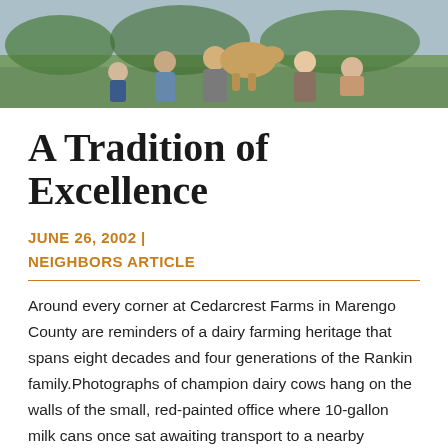[Figure (photo): Group of people standing outdoors on grass, likely with livestock, at Cedarcrest Farms]
A Tradition of Excellence
JUNE 26, 2002 | NEIGHBORS ARTICLE
Around every corner at Cedarcrest Farms in Marengo County are reminders of a dairy farming heritage that spans eight decades and four generations of the Rankin family.Photographs of champion dairy cows hang on the walls of the small, red-painted office where 10-gallon milk cans once sat awaiting transport to a nearby